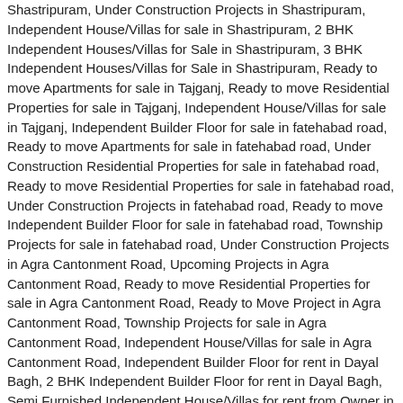Shastripuram, Under Construction Projects in Shastripuram, Independent House/Villas for sale in Shastripuram, 2 BHK Independent Houses/Villas for Sale in Shastripuram, 3 BHK Independent Houses/Villas for Sale in Shastripuram, Ready to move Apartments for sale in Tajganj, Ready to move Residential Properties for sale in Tajganj, Independent House/Villas for sale in Tajganj, Independent Builder Floor for sale in fatehabad road, Ready to move Apartments for sale in fatehabad road, Under Construction Residential Properties for sale in fatehabad road, Ready to move Residential Properties for sale in fatehabad road, Under Construction Projects in fatehabad road, Ready to move Independent Builder Floor for sale in fatehabad road, Township Projects for sale in fatehabad road, Under Construction Projects in Agra Cantonment Road, Upcoming Projects in Agra Cantonment Road, Ready to move Residential Properties for sale in Agra Cantonment Road, Ready to Move Project in Agra Cantonment Road, Township Projects for sale in Agra Cantonment Road, Independent House/Villas for sale in Agra Cantonment Road, Independent Builder Floor for rent in Dayal Bagh, 2 BHK Independent Builder Floor for rent in Dayal Bagh, Semi Furnished Independent House/Villas for rent from Owner in Dayal Bagh, Semi Furnished Residential Property for rent from Owner in Dayal Bagh, Semi Furnished Independent Builder Floor for rent in Dayal Bagh, Independent House/Villa for rent in Dayal Bagh, 2 BHK Independent Houses/Villas for Rent for rent in Dayal Bagh, 3 BHK